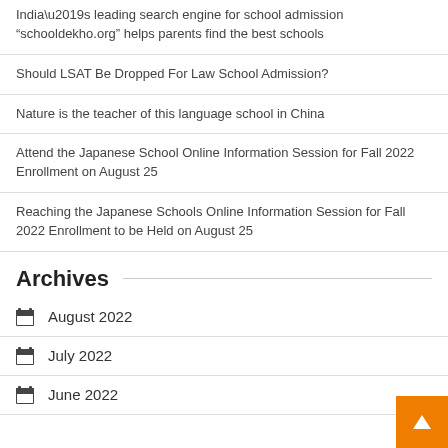India’s leading search engine for school admission “schooldekho.org” helps parents find the best schools
Should LSAT Be Dropped For Law School Admission?
Nature is the teacher of this language school in China
Attend the Japanese School Online Information Session for Fall 2022 Enrollment on August 25
Reaching the Japanese Schools Online Information Session for Fall 2022 Enrollment to be Held on August 25
Archives
August 2022
July 2022
June 2022